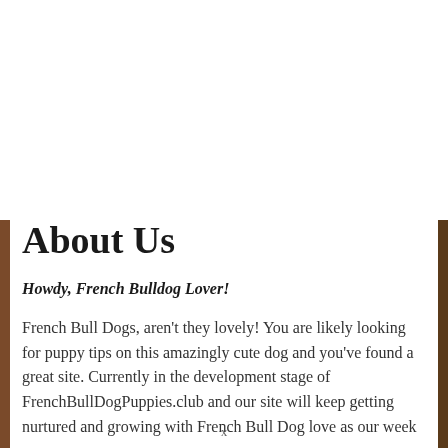About Us
Howdy, French Bulldog Lover!
French Bull Dogs, aren't they lovely! You are likely looking for puppy tips on this amazingly cute dog and you've found a great site. Currently in the development stage of FrenchBullDogPuppies.club and our site will keep getting nurtured and growing with French Bull Dog love as our week